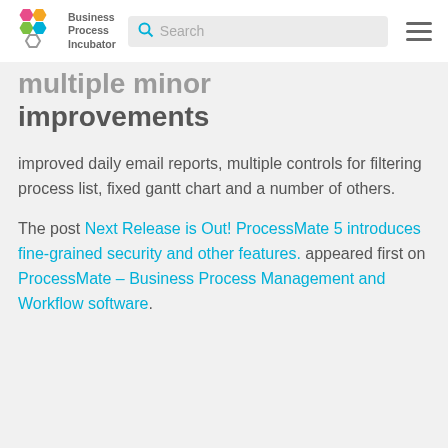Business Process Incubator
multiple minor improvements
improved daily email reports, multiple controls for filtering process list, fixed gantt chart and a number of others.
The post Next Release is Out! ProcessMate 5 introduces fine-grained security and other features. appeared first on ProcessMate – Business Process Management and Workflow software.